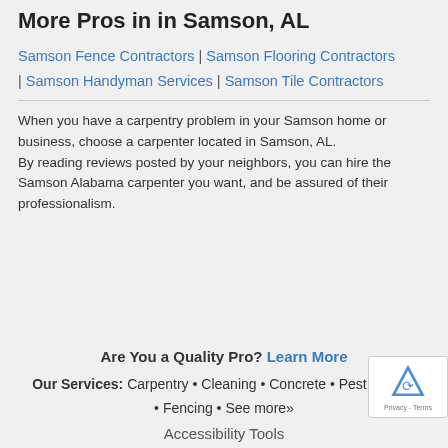More Pros in in Samson, AL
Samson Fence Contractors | Samson Flooring Contractors | Samson Handyman Services | Samson Tile Contractors
When you have a carpentry problem in your Samson home or business, choose a carpenter located in Samson, AL.
By reading reviews posted by your neighbors, you can hire the Samson Alabama carpenter you want, and be assured of their professionalism.
Are You a Quality Pro? Learn More
Our Services: Carpentry • Cleaning • Concrete • Pest Control • Fencing • See more»
Accessibility Tools